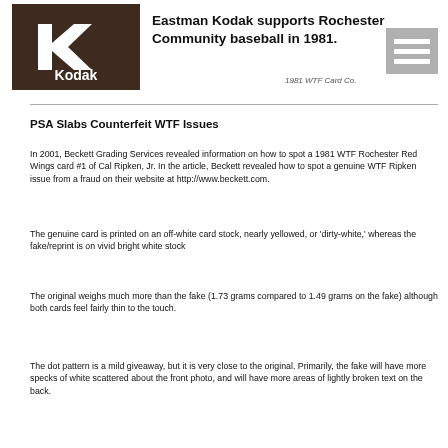[Figure (logo): Kodak logo — dark brown square with white K arrow mark and 'Kodak' text, alongside 'Eastman Kodak supports Rochester Community baseball in 1981.' and '1981 WTF Card Co.' credit]
PSA Slabs Counterfeit WTF Issues
In 2001, Beckett Grading Services revealed information on how to spot a 1981 WTF Rochester Red Wings card #1 of Cal Ripken, Jr. In the article, Beckett revealed how to spot a genuine WTF Ripken issue from a fraud on their website at http://www.beckett.com.
The genuine card is printed on an off-white card stock, nearly yellowed, or 'dirty-white,' whereas the fake/reprint is on vivid bright white stock
The original weighs much more than the fake (1.73 grams compared to 1.49 grams on the fake) although both cards feel fairly thin to the touch.
The dot pattern is a mild giveaway, but it is very close to the original. Primarily, the fake will have more specks of white scattered about the front photo, and will have more areas of lightly broken text on the back.